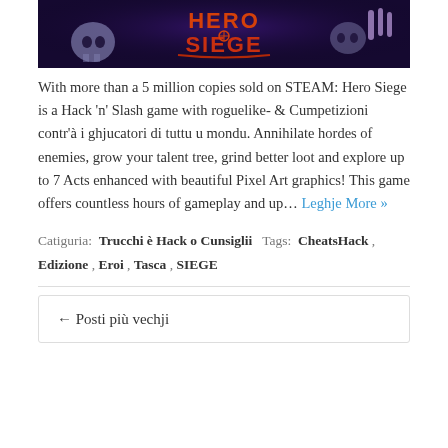[Figure (illustration): Hero Siege game banner with dark purple/blue background, skulls, and stylized 'HERO SIEGE' logo text in orange/red at the top]
With more than a 5 million copies sold on STEAM: Hero Siege is a Hack 'n' Slash game with roguelike- & Cumpetizioni contr'à i ghjucatori di tuttu u mondu. Annihilate hordes of enemies, grow your talent tree, grind better loot and explore up to 7 Acts enhanced with beautiful Pixel Art graphics! This game offers countless hours of gameplay and up… Leghje More »
Catiguria: Trucchi è Hack o Cunsiglii Tags: CheatsHack , Edizione , Eroi , Tasca , SIEGE
← Posti più vechji